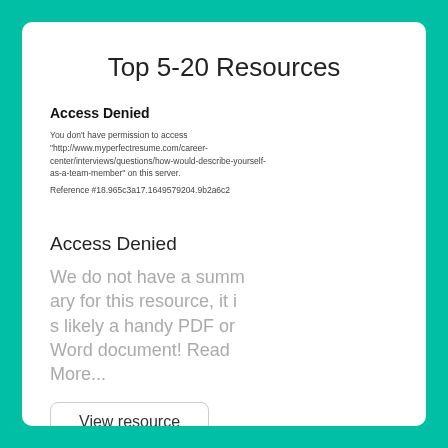Top 5-20 Resources
Access Denied
You don't have permission to access "http://www.myperfectresume.com/career-center/interviews/questions/how-would-describe-yourself-as-a-team-member" on this server.
Reference #18.965c3a17.1649579204.9b2a6c2
Access Denied
We do not have a summary for this resource, it is likely a handy PDF or Word document! Read More...
View resource